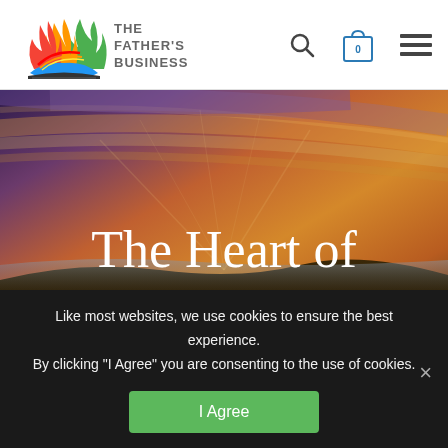[Figure (logo): The Father's Business logo with colorful flame/wave icon and bold text]
[Figure (photo): Scenic landscape photo with dramatic orange and purple sunset sky over misty mountains/fields]
The Heart of D
Like most websites, we use cookies to ensure the best experience. By clicking "I Agree" you are consenting to the use of cookies.